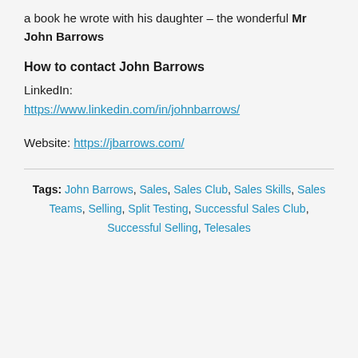a book he wrote with his daughter – the wonderful Mr John Barrows
How to contact John Barrows
LinkedIn:
https://www.linkedin.com/in/johnbarrows/
Website: https://jbarrows.com/
Tags: John Barrows, Sales, Sales Club, Sales Skills, Sales Teams, Selling, Split Testing, Successful Sales Club, Successful Selling, Telesales